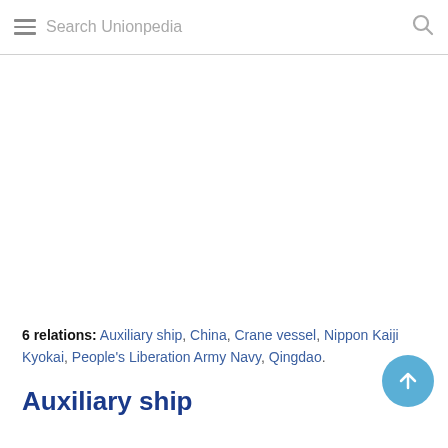Search Unionpedia
6 relations: Auxiliary ship, China, Crane vessel, Nippon Kaiji Kyokai, People's Liberation Army Navy, Qingdao.
Auxiliary ship